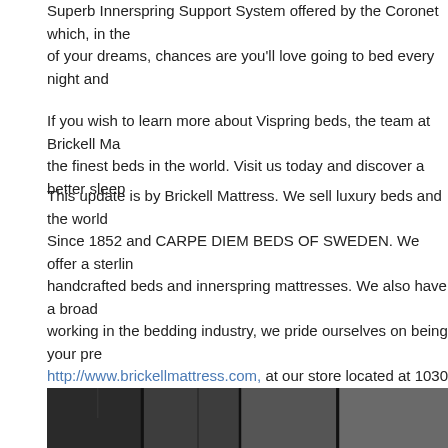Superb Innerspring Support System offered by the Coronet which, in the bed of your dreams, chances are you'll love going to bed every night and
If you wish to learn more about Vispring beds, the team at Brickell Ma the finest beds in the world. Visit us today and discover a better sleep
This update is by Brickell Mattress. We sell luxury beds and the world Since 1852 and CARPE DIEM BEDS OF SWEDEN. We offer a sterlin handcrafted beds and innerspring mattresses. We also have a broad working in the bedding industry, we pride ourselves on being your pre http://www.brickellmattress.com, at our store located at 1030 SW 8th Vispring mattresses or other brands.
The Rise of Orthosomnia
Posted January 9th, 2020 in Brickell Mattress, Hastens, Hästens mattres
[Figure (photo): Dark photo strip showing window panes or grid panels in grayscale]